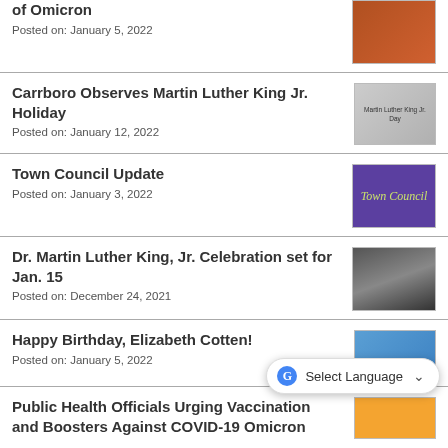of Omicron
Posted on: January 5, 2022
[Figure (photo): Photo related to Omicron news article]
Carrboro Observes Martin Luther King Jr. Holiday
Posted on: January 12, 2022
[Figure (photo): Martin Luther King Jr. Day graphic with text overlay]
Town Council Update
Posted on: January 3, 2022
[Figure (photo): Purple Town Council banner with yellow-green text]
Dr. Martin Luther King, Jr. Celebration set for Jan. 15
Posted on: December 24, 2021
[Figure (photo): Black and white portrait of Dr. Martin Luther King Jr.]
Happy Birthday, Elizabeth Cotten!
Posted on: January 5, 2022
[Figure (photo): Photo related to Elizabeth Cotten birthday article]
Public Health Officials Urging Vaccination and Boosters Against COVID-19 Omicron
[Figure (photo): Orange/yellow COVID-19 vaccination booster flyer]